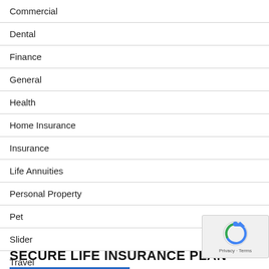Commercial
Dental
Finance
General
Health
Home Insurance
Insurance
Life Annuities
Personal Property
Pet
Slider
Travel
SECURE LIFE INSURANCE PLAN